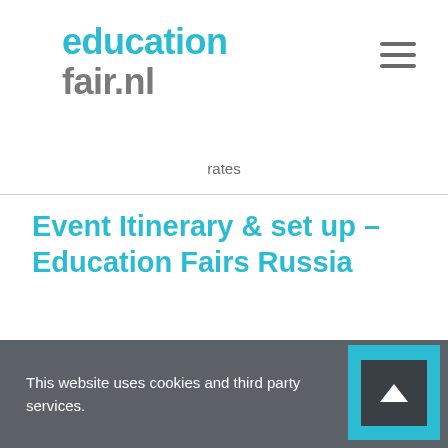educationfair.nl
rates
Event Itinerary & set up – Education Fairs Russia
Event Itinerary
This website uses cookies and third party services.